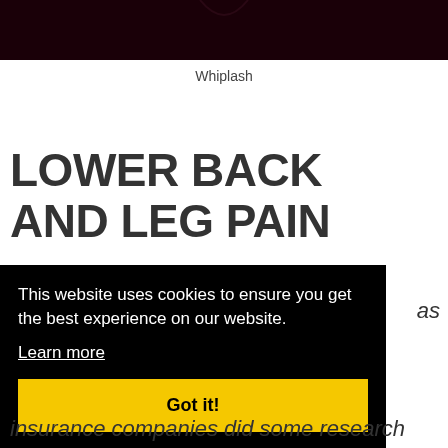[Figure (photo): Dark wine-colored background image at top of page, partially visible]
Whiplash
LOWER BACK AND LEG PAIN
This website uses cookies to ensure you get the best experience on our website.
Learn more
Got it!
as
insurance companies did some research